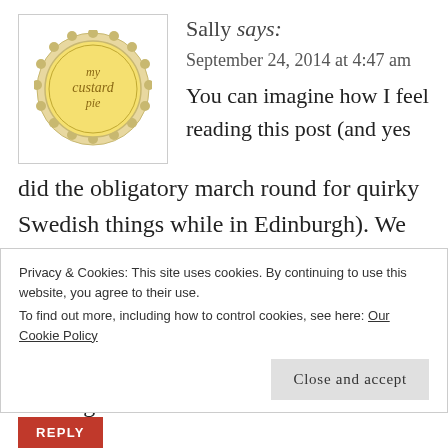Sally says:
September 24, 2014 at 4:47 am
[Figure (logo): My Custard Pie blog logo — circular badge with decorative edge, yellow background, cursive text reading 'my custard pie']
You can imagine how I feel reading this post (and yes did the obligatory march round for quirky Swedish things while in Edinburgh). We did have the meatballs (pork is a novelty) first time for me ... and the last. Pleased and oh so proud to report that elder teen seems to be tackling food shopping and cooking with
Privacy & Cookies: This site uses cookies. By continuing to use this website, you agree to their use.
To find out more, including how to control cookies, see here: Our Cookie Policy
Close and accept
REPLY